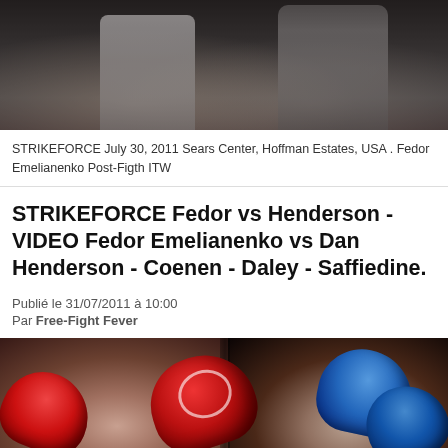[Figure (photo): MMA fighters at Strikeforce event, two fighters visible in an octagon/cage setting]
STRIKEFORCE July 30, 2011 Sears Center, Hoffman Estates, USA . Fedor Emelianenko Post-Figth ITW
STRIKEFORCE Fedor vs Henderson - VIDEO Fedor Emelianenko vs Dan Henderson - Coenen - Daley - Saffiedine.
Publié le 31/07/2011 à 10:00
Par Free-Fight Fever
[Figure (photo): Two MMA fighters in fighting stance, one wearing red gloves and one wearing blue gloves, dramatic promotional photo]